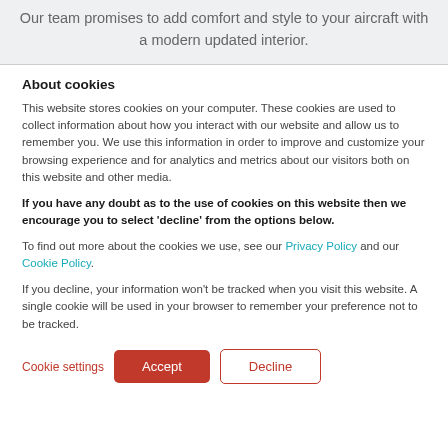Our team promises to add comfort and style to your aircraft with a modern updated interior.
About cookies
This website stores cookies on your computer. These cookies are used to collect information about how you interact with our website and allow us to remember you. We use this information in order to improve and customize your browsing experience and for analytics and metrics about our visitors both on this website and other media.
If you have any doubt as to the use of cookies on this website then we encourage you to select 'decline' from the options below.
To find out more about the cookies we use, see our Privacy Policy and our Cookie Policy.
If you decline, your information won't be tracked when you visit this website. A single cookie will be used in your browser to remember your preference not to be tracked.
Cookie settings | Accept | Decline